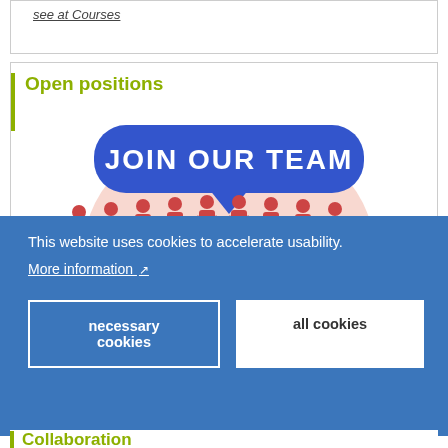see at Courses
Open positions
[Figure (illustration): JOIN OUR TEAM illustration showing a row of human figure icons in red/coral on a pink circular background, with the text 'JOIN OUR TEAM' in a blue rounded speech bubble above them, and two diagonal blue arrow/line elements on either side.]
This website uses cookies to accelerate usability.
More information ↗
necessary cookies
all cookies
Collaboration